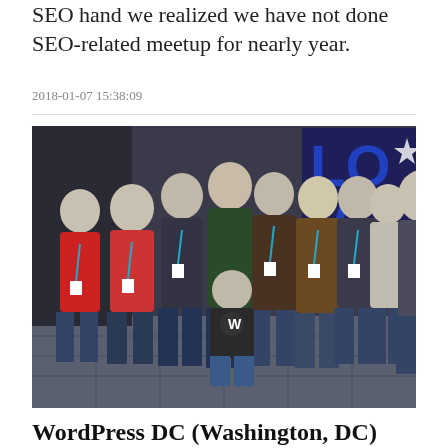SEO hand we realized we have not done SEO-related meetup for nearly year.
2018-01-07 15:38:09
[Figure (photo): Group photo of approximately 10-11 people (WordPress community members) standing together at what appears to be a conference venue with a decorative blue background sign. One person is crouching in the front center wearing a WordPress t-shirt.]
WordPress DC (Washington, DC)
This group offers action of view, categories, support & answers regarding WordPress..
2018-01-07 17:01:01